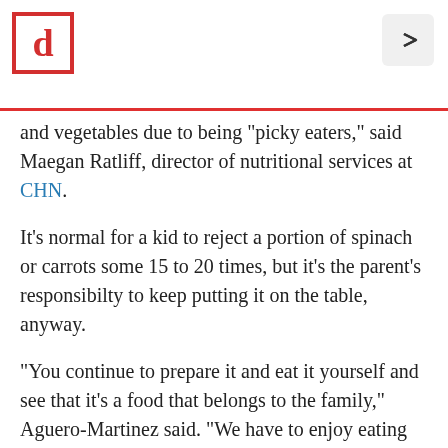d [logo]
and vegetables due to being "picky eaters," said Maegan Ratliff, director of nutritional services at CHN.
It's normal for a kid to reject a portion of spinach or carrots some 15 to 20 times, but it's the parent's responsibilty to keep putting it on the table, anyway.
"You continue to prepare it and eat it yourself and see that it's a food that belongs to the family," Aguero-Martinez said. "We have to enjoy eating vegetables as a family for the kids to join in on the habit."
It may mean you have to get creative about the preparation, Ratliff said.